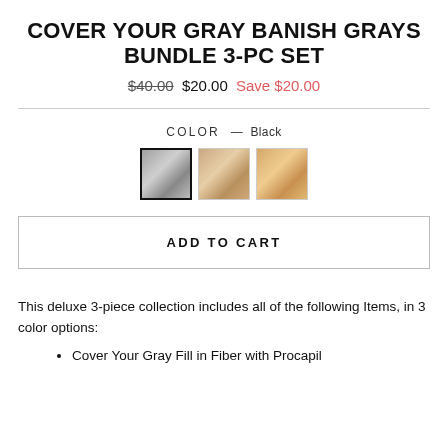COVER YOUR GRAY BANISH GRAYS BUNDLE 3-PC SET
$40.00  $20.00  Save $20.00
COLOR — Black
[Figure (other): Three color swatches: Black (selected, dark gray metallic), medium brown, and light golden/blonde]
ADD TO CART
This deluxe 3-piece collection includes all of the following Items, in 3 color options:
Cover Your Gray Fill in Fiber with Procapil